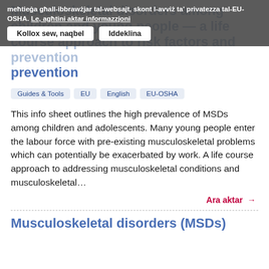meħtieġa għall-ibbrawżjar tal-websajt, skont l-avviż ta' privatezza tal-EU-OSHA. Le, agħtini aktar informazzjoni
Kollox sew, naqbel | Iddeklina
Musculoskeletal disorders among children and young people — a life course approach to risk factors and prevention
Guides & Tools  EU  English  EU-OSHA
This info sheet outlines the high prevalence of MSDs among children and adolescents. Many young people enter the labour force with pre-existing musculoskeletal problems which can potentially be exacerbated by work. A life course approach to addressing musculoskeletal conditions and musculoskeletal…
Ara aktar →
Musculoskeletal disorders (MSDs)